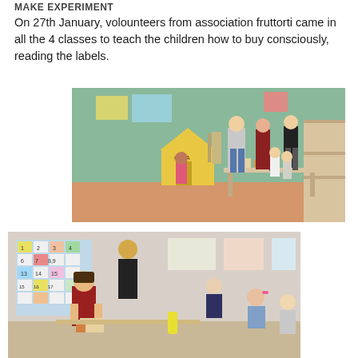MAKE EXPERIMENT
On 27th January, volounteers from association fruttorti came in all the 4 classes to teach the children how to buy consciously, reading the labels.
[Figure (photo): Classroom photo showing volunteers from association fruttorti interacting with children around a table. A yellow cardboard house labeled 'CASA' is visible on the left. Adults and children are standing around a table with products on it. Colorful classroom decorations in the background.]
[Figure (photo): Classroom photo showing a female volunteer in a red top sitting with children at a table, examining food product labels. Number charts and educational materials visible on the wall behind them.]